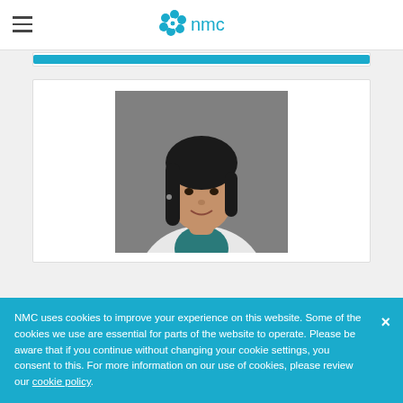[Figure (logo): NMC logo with blue flower icon and 'nmc' text]
[Figure (photo): Professional headshot of Dr. Pemina Eramballi Neethish, a woman in a white medical coat with dark hair, against a grey background]
Dr. Pemina Eramballi Neethish
Medical Practitioner
NMC uses cookies to improve your experience on this website. Some of the cookies we use are essential for parts of the website to operate. Please be aware that if you continue without changing your cookie settings, you consent to this. For more information on our use of cookies, please review our cookie policy